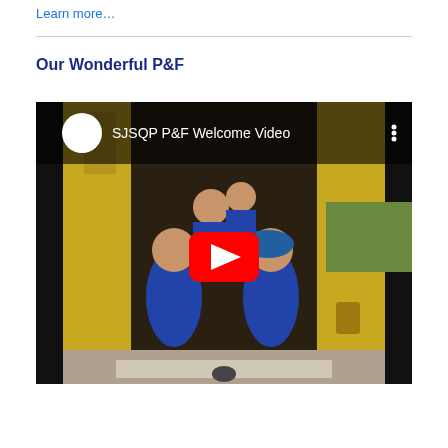Learn more…
Our Wonderful P&F
[Figure (screenshot): YouTube video thumbnail showing children in blue school uniforms crouching inside an old yellow van, with a red YouTube play button overlay and title 'SJSQP P&F Welcome Video']